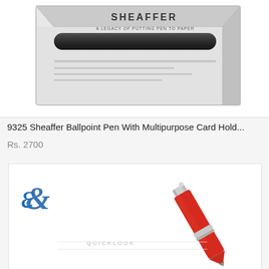[Figure (photo): Sheaffer ballpoint pen in box with metallic packaging, SHEAFFER branding visible on top of box]
9325 Sheaffer Ballpoint Pen With Multipurpose Card Hold...
Rs. 2700
[Figure (photo): Red ballpoint pen with silver clip and accents shown diagonally against white background with cursive blue letter E logo in upper left, QUICKLOOK overlay text visible]